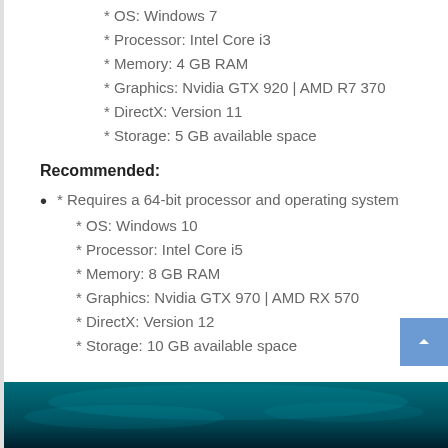* OS: Windows 7
* Processor: Intel Core i3
* Memory: 4 GB RAM
* Graphics: Nvidia GTX 920 | AMD R7 370
* DirectX: Version 11
* Storage: 5 GB available space
Recommended:
* Requires a 64-bit processor and operating system
* OS: Windows 10
* Processor: Intel Core i5
* Memory: 8 GB RAM
* Graphics: Nvidia GTX 970 | AMD RX 570
* DirectX: Version 12
* Storage: 10 GB available space
[Figure (photo): Dark teal/blue underwater or atmospheric background image at the bottom of the page]